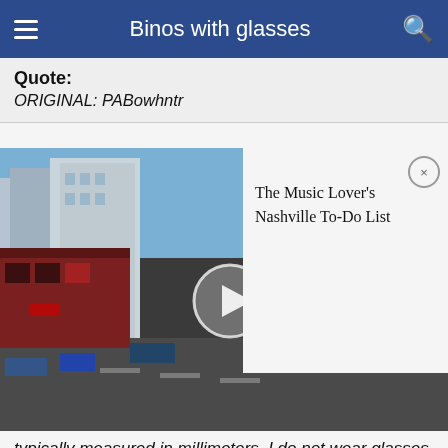Binos with glasses
Quote:
ORIGINAL: PABowhntr
[Figure (screenshot): Video thumbnail showing a Nashville street scene with city buildings, a red decorated storefront, and a video play button overlay. An ad card overlays the right side with text 'The Music Lover's Nashville To-Do List' and a close (×) button.]
typically measured in millimeters. I do not wear glasses but most of the folks I have spoken with that do and whouse binssuggest a binocular with at least 16 or 17 mm of eye relief in order to get the full field of view. Personally, because of my facial dimensions I actually prefer bins with eye relief of at least 18 mm and 20 mm is even better.
If the eye relief info is not in the item description from wherever you are buying it from then you can probably find it on the manufacturer's website or in the product manual.